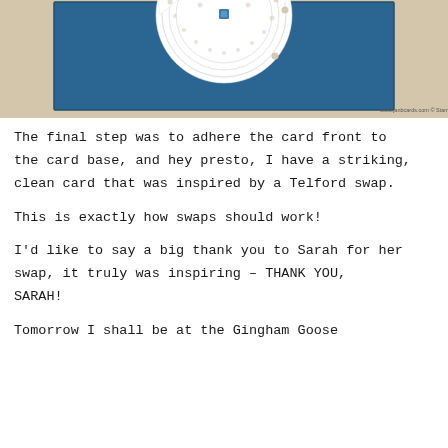[Figure (photo): Photograph of a handmade greeting card with a dark blue (navy/teal) card base and a white paper doily on the front, displayed on a light wooden surface. A small blue embellishment is visible at the top of the doily. Watermark reads: www.janbcards.com © Stampin'Up]
The final step was to adhere the card front to the card base, and hey presto, I have a striking, clean card that was inspired by a Telford swap.
This is exactly how swaps should work!
I'd like to say a big thank you to Sarah for her swap, it truly was inspiring – THANK YOU, SARAH!
Tomorrow I shall be at the Gingham Goose